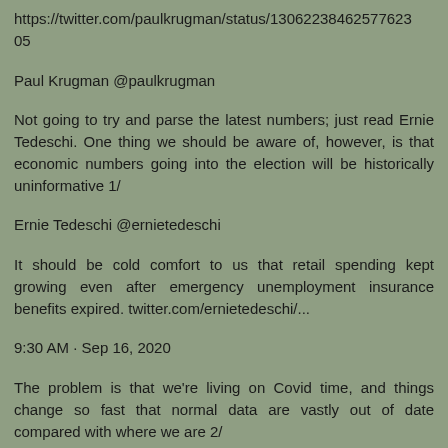https://twitter.com/paulkrugman/status/130622384625776230​5
Paul Krugman @paulkrugman
Not going to try and parse the latest numbers; just read Ernie Tedeschi. One thing we should be aware of, however, is that economic numbers going into the election will be historically uninformative 1/
Ernie Tedeschi @ernietedeschi
It should be cold comfort to us that retail spending kept growing even after emergency unemployment insurance benefits expired. twitter.com/ernietedeschi/...
9:30 AM · Sep 16, 2020
The problem is that we're living on Covid time, and things change so fast that normal data are vastly out of date compared with where we are 2/
The final pre-election employment report will be released